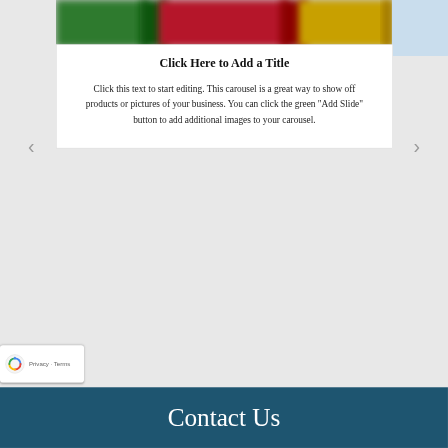[Figure (screenshot): Carousel widget showing colorful blurred image strip (green, red, yellow) at top of a white card]
Click Here to Add a Title
Click this text to start editing. This carousel is a great way to show off products or pictures of your business. You can click the green "Add Slide" button to add additional images to your carousel.
[Figure (logo): Google reCAPTCHA badge with spinning arrows logo and Privacy · Terms links]
Contact Us